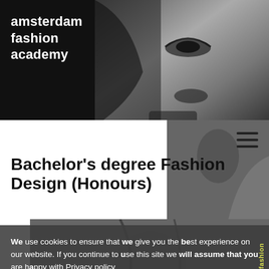[Figure (photo): Black and white close-up photo of a woman's face and upper body, shown in the top-right corner of the page]
amsterdam fashion academy
[Figure (photo): Black and white photo of a person in fashion clothing, partially visible behind the white content area and cookie overlay]
Bachelor's degree Fashion Design (Honours)
We use cookies to ensure that we give you the best experience on our website. If you continue to use this site we will assume that you are happy with Privacy policy
[Figure (other): amsterdam fashion text in yellow rotated vertically on the right side]
Reject All
Allow All